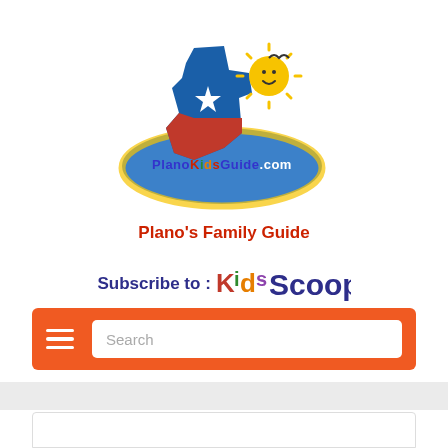[Figure (logo): PlanoKidsGuide.com logo: Texas state shape in blue and red with a white star, yellow smiley sun, and rainbow-colored text on a blue oval banner]
Plano's Family Guide
[Figure (logo): Kids Scoop logo with colorful stylized letters]
Subscribe to : Kids Scoop
Plano Events, Coupons, Reviews!
[Figure (screenshot): Orange navigation bar with hamburger menu icon and search box]